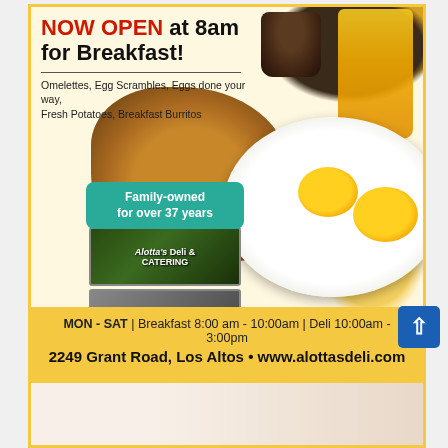NOW OPEN at 8am for Breakfast!
Omelettes, Egg Scrambles, Eggs done your way, Fresh Potatoes, Breakfast Burritos
[Figure (photo): Breakfast plate with fried eggs, hash brown potatoes, bacon strips, coffee cup and orange juice glass in background]
Family-owned for over 37 years
[Figure (photo): Storefront of Alotta's Deli & Catering with store sign and staff photo]
MON - SAT | Breakfast 8:00 am - 10:00am | Deli 10:00am - 3:00pm
2249 Grant Road, Los Altos • www.alottasdeli.com